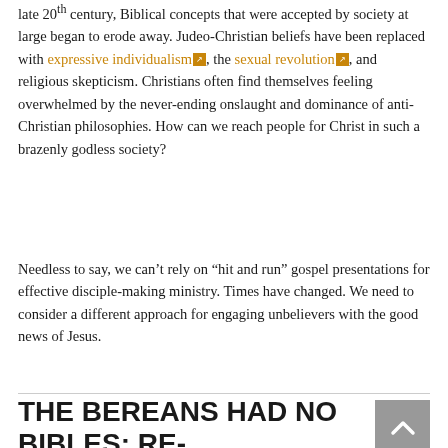late 20th century, Biblical concepts that were accepted by society at large began to erode away. Judeo-Christian beliefs have been replaced with expressive individualism, the sexual revolution, and religious skepticism. Christians often find themselves feeling overwhelmed by the never-ending onslaught and dominance of anti-Christian philosophies. How can we reach people for Christ in such a brazenly godless society?
Needless to say, we can't rely on “hit and run” gospel presentations for effective disciple-making ministry. Times have changed. We need to consider a different approach for engaging unbelievers with the good news of Jesus.
THE BEREANS HAD NO BIBLES: RE-ENVISIONING